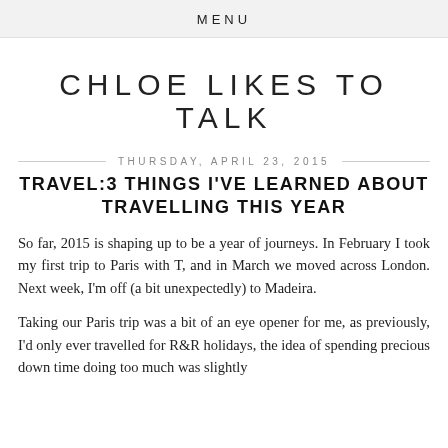MENU
CHLOE LIKES TO TALK
THURSDAY, APRIL 23, 2015
TRAVEL:3 THINGS I'VE LEARNED ABOUT TRAVELLING THIS YEAR
So far, 2015 is shaping up to be a year of journeys. In February I took my first trip to Paris with T, and in March we moved across London. Next week, I'm off (a bit unexpectedly) to Madeira.
Taking our Paris trip was a bit of an eye opener for me, as previously, I'd only ever travelled for R&R holidays, the idea of spending precious down time doing too much was slightly